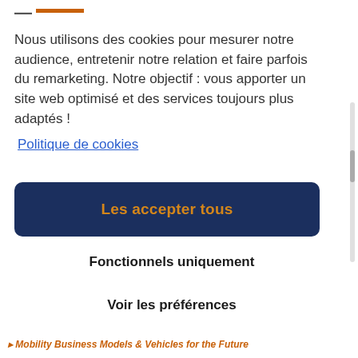— orange bar logo header
Nous utilisons des cookies pour mesurer notre audience, entretenir notre relation et faire parfois du remarketing. Notre objectif : vous apporter un site web optimisé et des services toujours plus adaptés ! Politique de cookies
Les accepter tous
Fonctionnels uniquement
Voir les préférences
Mobility Business Models & Vehicles for the Future